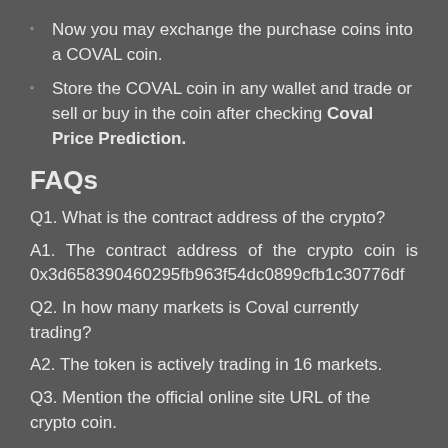Now you may exchange the purchase coins into a COVAL coin.
Store the COVAL coin in any wallet and trade or sell or buy in the coin after checking Coval Price Prediction.
FAQs
Q1. What is the contract address of the crypto?
A1. The contract address of the crypto coin is 0x3d658390460295fb963f54dc0899cfb1c30776df
Q2. In how many markets is Coval currently trading?
A2. The token is actively trading in 16 markets.
Q3. Mention the official online site URL of the crypto coin.
A3. The official online site URL of the crypto coin is